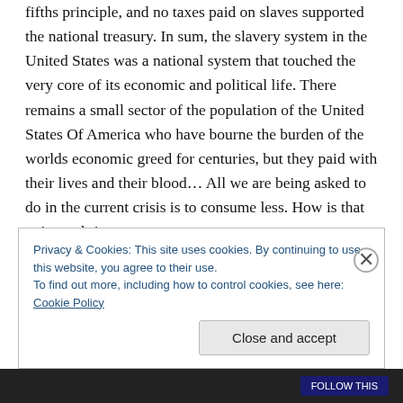fifths principle, and no taxes paid on slaves supported the national treasury. In sum, the slavery system in the United States was a national system that touched the very core of its economic and political life. There remains a small sector of the population of the United States Of America who have bourne the burden of the worlds economic greed for centuries, but they paid with their lives and their blood… All we are being asked to do in the current crisis is to consume less. How is that going to bring our
Privacy & Cookies: This site uses cookies. By continuing to use this website, you agree to their use.
To find out more, including how to control cookies, see here: Cookie Policy